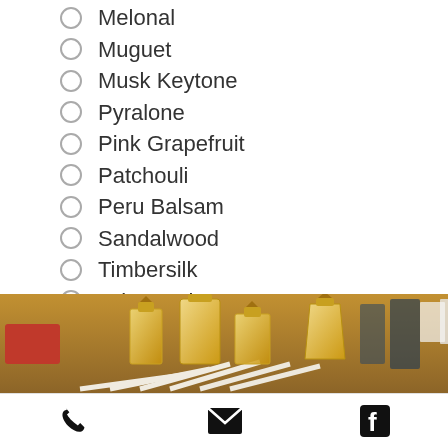Melonal
Muguet
Musk Keytone
Pyralone
Pink Grapefruit
Patchouli
Peru Balsam
Sandalwood
Timbersilk
Tobacarol
Undecavertol
Vanillin
Vetiver
[Figure (photo): A display of several perfume bottles with gold caps arranged on a wooden table, with white scent strips fanned out in the foreground and a red box in the background left.]
Phone icon, Email icon, Facebook icon